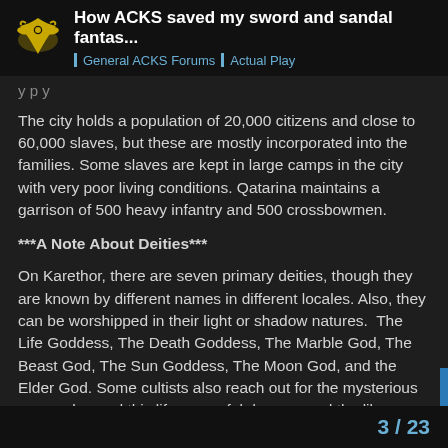How ACKS saved my sword and sandal fantas... | General ACKS Forums | Actual Play
y p y
The city holds a population of 20,000 citizens and close to 60,000 slaves, but these are mostly incorporated into the families. Some slaves are kept in large camps in the city with very poor living conditions. Qatarina maintains a garrison of 500 heavy infantry and 500 crossbowmen.
***A Note About Deities***
On Karethor, there are seven primary deities, though they are known by different names in different locales. Also, they can be worshipped in their light or shadow natures.  The Life Goddess, The Death Goddess, The Marble God, The Beast God, The Sun Goddess, The Moon God, and the Elder God. Some cultists also reach out for the mysterious powers beyond this life, powerful demons and the like.
3 / 23